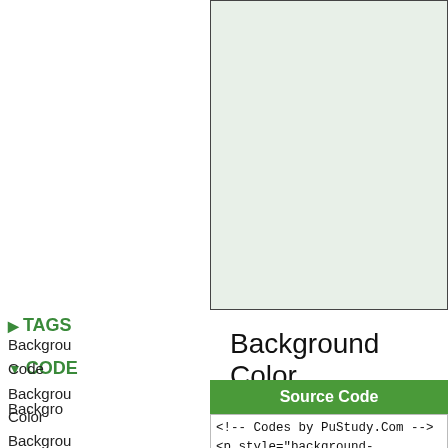[Figure (screenshot): Light green preview box showing rendered HTML output with background color]
▶ TAGS
▼ CODE
Backgro
Backgrou
Code
Background Color
Backgrou
Color
Backgrou
Source Code
<!-- Codes by PuStudy.Com -->
<p style="background-color:#DAA520">The
color of this paragraph is: <b>#DAA520<
</p>